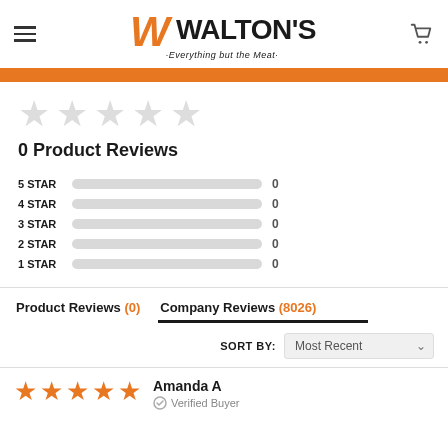[Figure (logo): Walton's logo with orange W and tagline 'Everything but the Meat']
[Figure (infographic): 5 empty (light gray) stars representing 0 rating]
0 Product Reviews
[Figure (bar-chart): Star rating breakdown]
Product Reviews (0)    Company Reviews (8026)
SORT BY: Most Recent
Amanda A    Verified Buyer